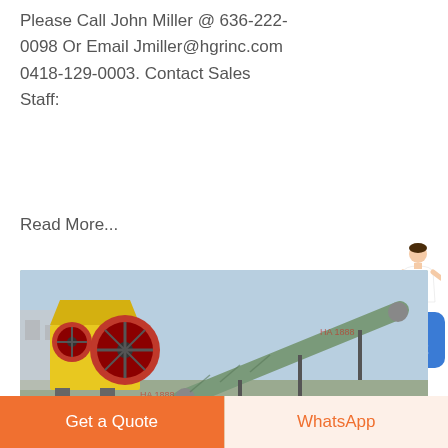Please Call John Miller @ 636-222-0098 Or Email Jmiller@hgrinc.com 0418-129-0003. Contact Sales Staff:
Read More...
[Figure (photo): Industrial jaw crusher (yellow) and conveyor belt equipment in an outdoor facility]
Used Hammer Mills | Buy & Sell Used Mills
Used- Bliss Eliminator Hammer Mill, Model E-1430-TF, Carbon Steel, 14"...
Get a Quote
WhatsApp